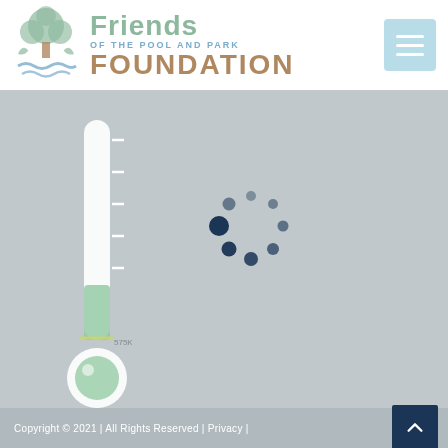[Figure (logo): Friends of the Pool and Park Foundation logo with tree/water icon on left and organization name text on right]
[Figure (other): Thermometer fundraising gauge showing progress level around 575K mark, with green fill in bulb and lower tube portion]
[Figure (other): Animated loading spinner made of dark navy blue dots in a circular arrangement]
Copyright © 2021 | All Rights Reserved | Privacy |